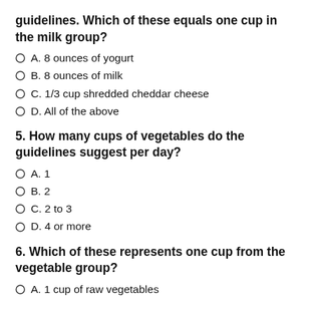guidelines. Which of these equals one cup in the milk group?
A. 8 ounces of yogurt
B. 8 ounces of milk
C. 1/3 cup shredded cheddar cheese
D. All of the above
5. How many cups of vegetables do the guidelines suggest per day?
A. 1
B. 2
C. 2 to 3
D. 4 or more
6. Which of these represents one cup from the vegetable group?
A. 1 cup of raw vegetables